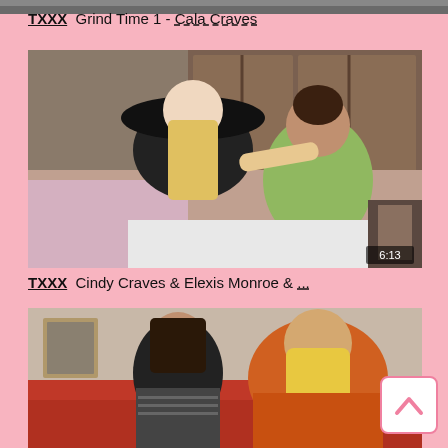[Figure (photo): Partial top strip showing edge of previous video thumbnail]
TXXX  Grind Time 1 - Cala Craves
[Figure (photo): Video thumbnail showing two women on a bed, one in black hat and black outfit, one in green top, duration 6:13]
TXXX  Cindy Craves & Elexis Monroe & ...
[Figure (photo): Video thumbnail showing two women on a red couch, one with dark hair in striped shirt, one blonde in orange top]